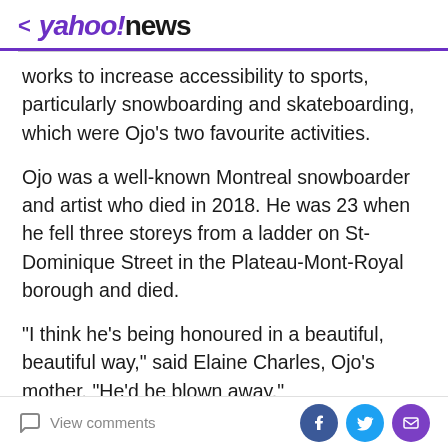< yahoo!news
works to increase accessibility to sports, particularly snowboarding and skateboarding, which were Ojo's two favourite activities.
Ojo was a well-known Montreal snowboarder and artist who died in 2018. He was 23 when he fell three storeys from a ladder on St-Dominique Street in the Plateau-Mont-Royal borough and died.
"I think he's being honoured in a beautiful, beautiful way," said Elaine Charles, Ojo's mother. "He'd be blown away."
He loved music, animals and being outdoors, said Charles. She said her son would be humbled by the new
View comments